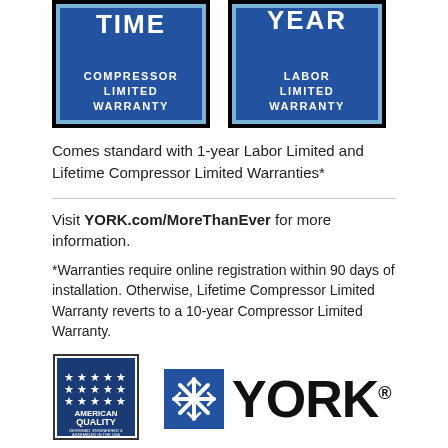[Figure (illustration): Two blue warranty badge icons: left shows 'LIFETIME COMPRESSOR LIMITED WARRANTY', right shows '1 YEAR LABOR LIMITED WARRANTY']
Comes standard with 1-year Labor Limited and Lifetime Compressor Limited Warranties*
Visit YORK.com/MoreThanEver for more information.
*Warranties require online registration within 90 days of installation. Otherwise, Lifetime Compressor Limited Warranty reverts to a 10-year Compressor Limited Warranty.
[Figure (logo): American Quality logo (stars badge) and YORK logo with snowflake icon]